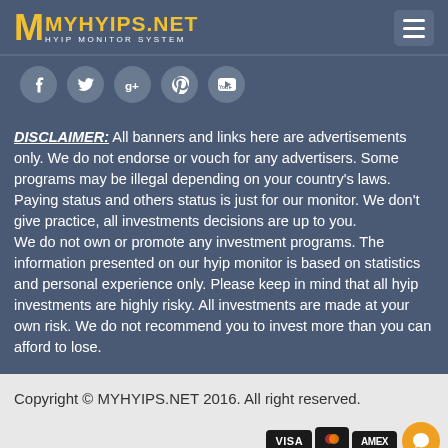MYHYIPS.NET HYIP MONITOR SYSTEM
[Figure (infographic): Social media icons: Facebook, Twitter, Google+, Pinterest, YouTube in circular grey buttons]
DISCLAIMER: All banners and links here are advertisements only. We do not endorse or vouch for any advertisers. Some programs may be illegal depending on your country's laws. Paying status and others status is just for our monitor. We don't give practice, all investments decisions are up to you. We do not own or promote any investment programs. The information presented on our hyip monitor is based on statistics and personal experience only. Please keep in mind that all hyip investments are highly risky. All investments are made at your own risk. We do not recommend you to invest more than you can afford to lose.
Copyright © MYHYIPS.NET 2016. All right reserved.